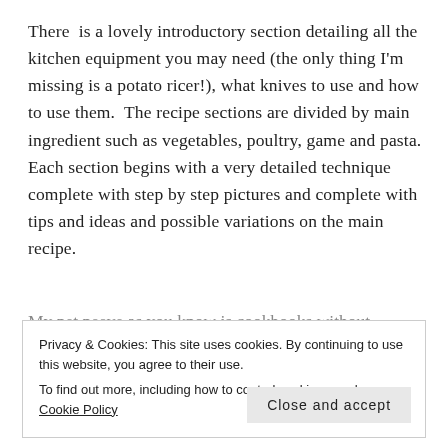There  is a lovely introductory section detailing all the kitchen equipment you may need (the only thing I'm missing is a potato ricer!), what knives to use and how to use them.  The recipe sections are divided by main ingredient such as vegetables, poultry, game and pasta. Each section begins with a very detailed technique complete with step by step pictures and complete with tips and ideas and possible variations on the main recipe.
My pet peeve as you know is cookbooks without...
Privacy & Cookies: This site uses cookies. By continuing to use this website, you agree to their use.
To find out more, including how to control cookies, see here: Cookie Policy